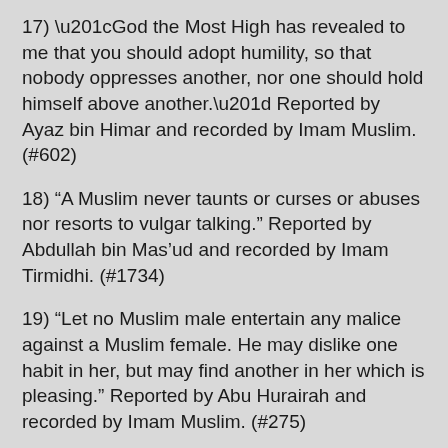17) “God the Most High has revealed to me that you should adopt humility, so that nobody oppresses another, nor one should hold himself above another.” Reported by Ayaz bin Himar and recorded by Imam Muslim. (#602)
18) “A Muslim never taunts or curses or abuses nor resorts to vulgar talking.” Reported by Abdullah bin Mas’ud and recorded by Imam Tirmidhi. (#1734)
19) “Let no Muslim male entertain any malice against a Muslim female. He may dislike one habit in her, but may find another in her which is pleasing.” Reported by Abu Hurairah and recorded by Imam Muslim. (#275)
20) “Plenty of provision or abundance do not make